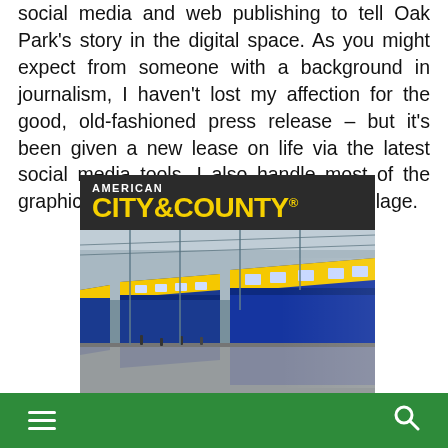social media and web publishing to tell Oak Park's story in the digital space. As you might expect from someone with a background in journalism, I haven't lost my affection for the good, old-fashioned press release – but it's been given a new lease on life via the latest social media tools. I also handle most of the graphic design and layout tasks for the village.
[Figure (photo): American City & County magazine logo on dark background above a photograph of blue and yellow high-speed trains at a station platform]
Navigation menu (hamburger icon) and search icon on green footer bar